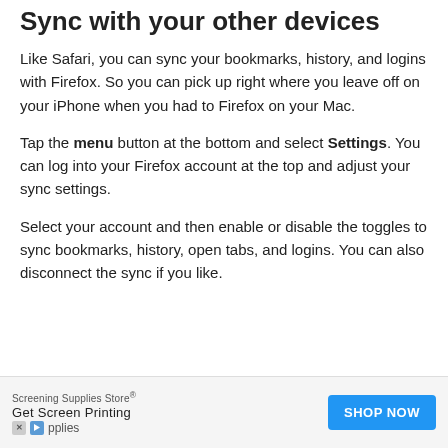Sync with your other devices
Like Safari, you can sync your bookmarks, history, and logins with Firefox. So you can pick up right where you leave off on your iPhone when you had to Firefox on your Mac.
Tap the menu button at the bottom and select Settings. You can log into your Firefox account at the top and adjust your sync settings.
Select your account and then enable or disable the toggles to sync bookmarks, history, open tabs, and logins. You can also disconnect the sync if you like.
[Figure (other): Advertisement banner for Screening Supplies Store with 'Get Screen Printing' text and a blue 'SHOP NOW' button]